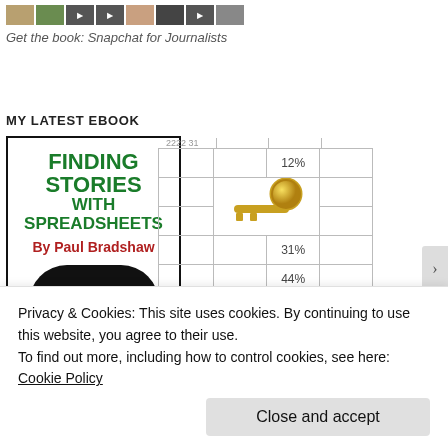[Figure (photo): Row of thumbnail images including photos, play buttons, and a face image at the top of the page]
Get the book: Snapchat for Journalists
MY LATEST EBOOK
[Figure (illustration): Book cover for 'Finding Stories with Spreadsheets By Paul Bradshaw' shown alongside a partial spreadsheet with percentages 12%, 31%, 44% and a golden key illustration]
Privacy & Cookies: This site uses cookies. By continuing to use this website, you agree to their use.
To find out more, including how to control cookies, see here: Cookie Policy
Close and accept